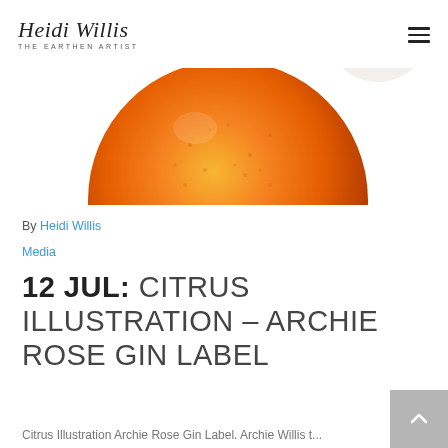Heidi Willis – The Earthen Artist
[Figure (illustration): Watercolour illustration of a citrus fruit (orange/grapefruit) – a large orange sphere partially visible at top, and a second pale sphere in the upper right corner, on a white background.]
By Heidi Willis
Media
12 JUL: CITRUS ILLUSTRATION – ARCHIE ROSE GIN LABEL
Citrus Illustration Archie Rose Gin Label. Archie Willis t...